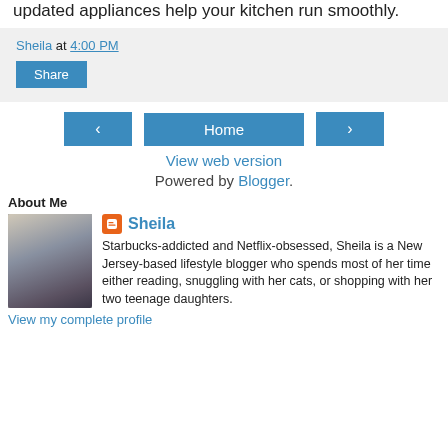updated appliances help your kitchen run smoothly.
Sheila at 4:00 PM
Share
Home
View web version
Powered by Blogger.
About Me
[Figure (photo): Profile photo of Sheila, a blonde woman]
Sheila
Starbucks-addicted and Netflix-obsessed, Sheila is a New Jersey-based lifestyle blogger who spends most of her time either reading, snuggling with her cats, or shopping with her two teenage daughters.
View my complete profile